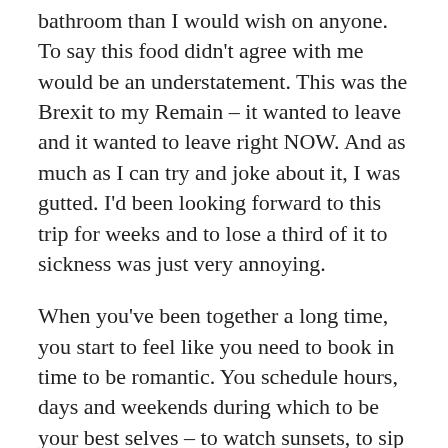bathroom than I would wish on anyone. To say this food didn't agree with me would be an understatement. This was the Brexit to my Remain – it wanted to leave and it wanted to leave right NOW. And as much as I can try and joke about it, I was gutted. I'd been looking forward to this trip for weeks and to lose a third of it to sickness was just very annoying.
When you've been together a long time, you start to feel like you need to book in time to be romantic. You schedule hours, days and weekends during which to be your best selves – to watch sunsets, to sip cocktails, to eat dinner without the telly on. To pay the other person your fullest attention and remind them that you really do love them more than your phone/X-Box/cat.